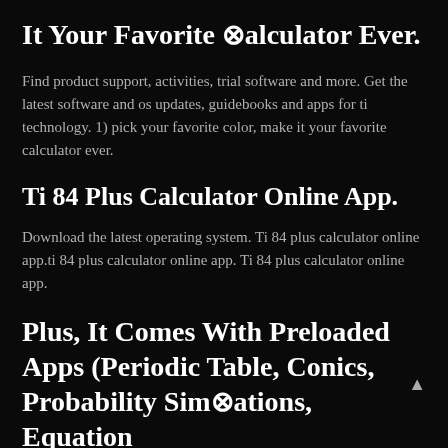It Your Favorite ⊗alculator Ever.
Find product support, activities, trial software and more. Get the latest software and os updates, guidebooks and apps for ti technology. 1) pick your favorite color, make it your favorite calculator ever.
Ti 84 Plus Calculator Online App.
Download the latest operating system. Ti 84 plus calculator online app.ti 84 plus calculator online app. Ti 84 plus calculator online app.
Plus, It Comes With Preloaded Apps (Periodic Table, Conics, Probability Sim⊗ations, Equation